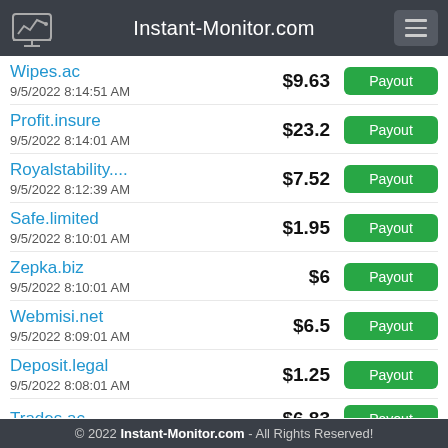Instant-Monitor.com
Wipes.ac
9/5/2022 8:14:51 AM
$9.63
Payout
Profit.insure
9/5/2022 8:14:01 AM
$23.2
Payout
Royalstability....
9/5/2022 8:12:39 AM
$7.52
Payout
Safe.limited
9/5/2022 8:10:01 AM
$1.95
Payout
Zepka.biz
9/5/2022 8:10:01 AM
$6
Payout
Webmisi.net
9/5/2022 8:09:01 AM
$6.5
Payout
Deposit.legal
9/5/2022 8:08:01 AM
$1.25
Payout
Trades.ac
$6.83
Payout
© 2022 Instant-Monitor.com - All Rights Reserved!